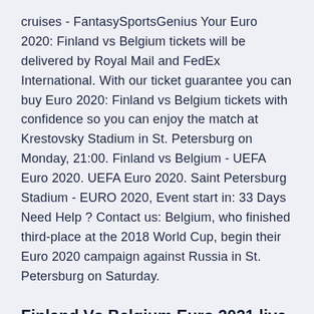cruises - FantasySportsGenius Your Euro 2020: Finland vs Belgium tickets will be delivered by Royal Mail and FedEx International. With our ticket guarantee you can buy Euro 2020: Finland vs Belgium tickets with confidence so you can enjoy the match at Krestovsky Stadium in St. Petersburg on Monday, 21:00. Finland vs Belgium - UEFA Euro 2020. UEFA Euro 2020. Saint Petersburg Stadium - EURO 2020, Event start in: 33 Days Need Help ? Contact us: Belgium, who finished third-place at the 2018 World Cup, begin their Euro 2020 campaign against Russia in St. Petersburg on Saturday.
Finland Vs Belgium Euro 2021 live stream in South Africa, UAE, Qatar, Start watching for free. This is the